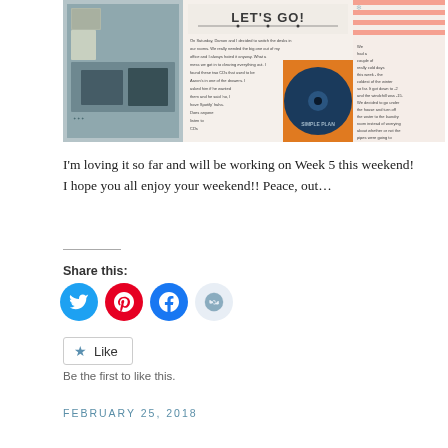[Figure (photo): A scrapbook-style collage layout. Left panel shows a room with furniture and frames. Center panel has 'LET'S GO!' text and journaling text. Right panel shows a blue Simple Plan CD and pink striped background with handwriting text.]
I'm loving it so far and will be working on Week 5 this weekend! I hope you all enjoy your weekend!! Peace, out…
Share this:
[Figure (infographic): Social media sharing icons: Twitter (blue circle), Pinterest (red circle), Facebook (blue circle), Reddit (light blue circle)]
Like
Be the first to like this.
FEBRUARY 25, 2018